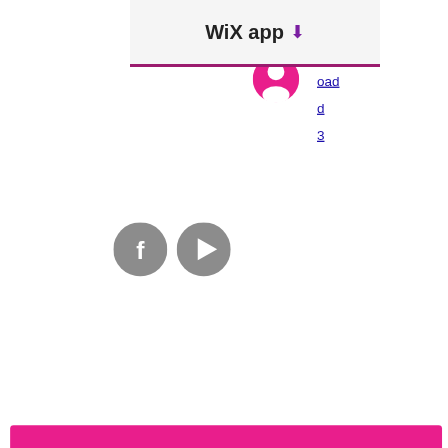[Figure (screenshot): Wix app header bar with download icon and magenta bottom border]
[Figure (screenshot): Pink user account circle icon]
[Figure (screenshot): Partially visible blue hyperlink text 'ol', 'oad', 'd', '3' on right edge]
[Figure (screenshot): Gray Facebook circle icon and gray YouTube circle icon]
[Figure (screenshot): Two magenta/hot-pink rounded rectangles (banners/buttons) stacked vertically on left side]
[Figure (screenshot): Magenta vertical banner on right side with white square inset and white rectangular cutout]
?????????????? ????????????????????
[Figure (screenshot): Light pink search bar with magnifying glass icon and 'Search' text]